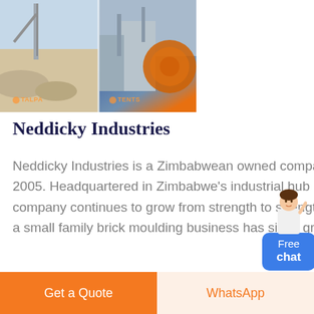[Figure (photo): Industrial/quarry machinery and mining equipment. Two side-by-side photos showing construction equipment and industrial plant with logo watermarks 'TALPA' or similar branding in orange.]
Neddicky Industries
Neddicky Industries is a Zimbabwean owned company, established in 2005. Headquartered in Zimbabwe's industrial hub Bulawayo, the company continues to grow from strength to strength, what started as a small family brick moulding business has since grown into a
[Figure (photo): Customer service representative avatar / chat widget with 'Free chat' button in blue]
Get a Quote
WhatsApp